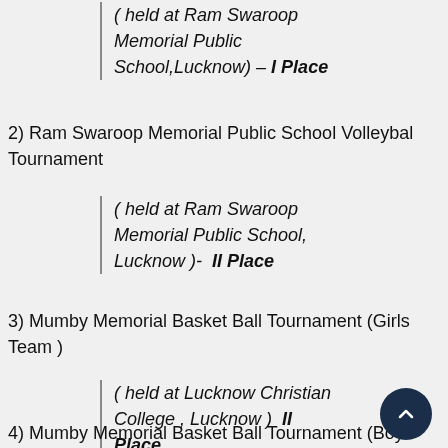( held at Ram Swaroop Memorial Public School,Lucknow) – I Place
2) Ram Swaroop Memorial Public School Volleybal Tournament
( held at Ram Swaroop Memorial Public School, Lucknow )- II Place
3) Mumby Memorial Basket Ball Tournament (Girls Team )
( held at Lucknow Christian College , Lucknow ) II Place
4) Mumby Memorial Basket Ball Tournament (Boys Team )